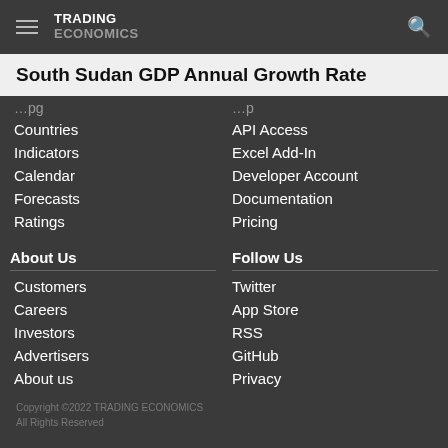TRADING ECONOMICS
South Sudan GDP Annual Growth Rate
Countries
Indicators
Calendar
Forecasts
Ratings
API Access
Excel Add-In
Developer Account
Documentation
Pricing
About Us
Customers
Careers
Investors
Advertisers
About us
Follow Us
Twitter
App Store
RSS
GitHub
Privacy
Copyright ©2022 TRADING ECONOMICS
All Rights Reserved